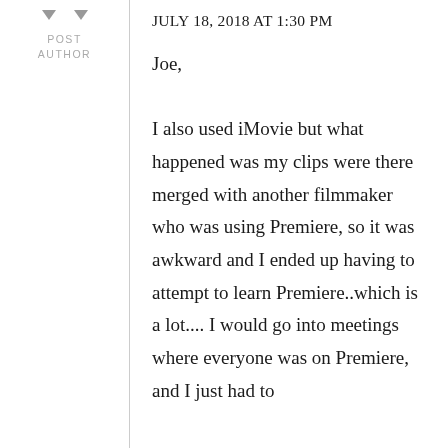JULY 18, 2018 AT 1:30 PM
POST
AUTHOR
Joe,

I also used iMovie but what happened was my clips were there merged with another filmmaker who was using Premiere, so it was awkward and I ended up having to attempt to learn Premiere..which is a lot.... I would go into meetings where everyone was on Premiere, and I just had to